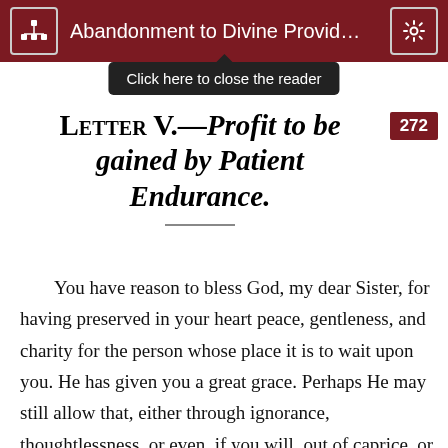Abandonment to Divine Provid...
Click here to close the reader
Letter V.—Profit to be gained by Patient Endurance.
272
You have reason to bless God, my dear Sister, for having preserved in your heart peace, gentleness, and charity for the person whose place it is to wait upon you. He has given you a great grace. Perhaps He may still allow that, either through ignorance, thoughtlessness, or even, if you will, out of caprice, or bad temper, she may give